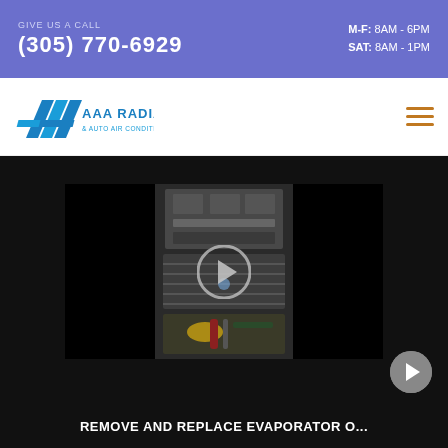GIVE US A CALL (305) 770-6929 | M-F: 8AM - 6PM | SAT: 8AM - 1PM
[Figure (logo): AAA Radiator & Auto Air Conditioning logo with blue stylized triple-A icon]
[Figure (screenshot): Video thumbnail showing an evaporator being removed and replaced, with a play button overlay and next arrow button. Caption reads: REMOVE AND REPLACE EVAPORATOR O...]